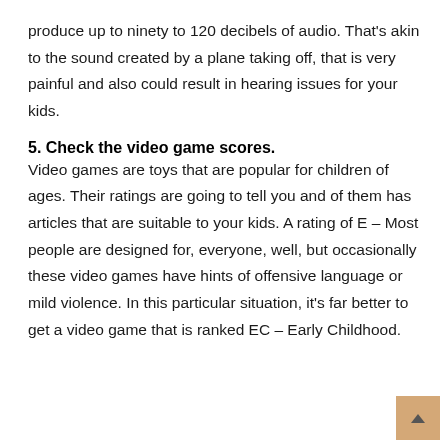produce up to ninety to 120 decibels of audio. That's akin to the sound created by a plane taking off, that is very painful and also could result in hearing issues for your kids.
5. Check the video game scores.
Video games are toys that are popular for children of ages. Their ratings are going to tell you and of them has articles that are suitable to your kids. A rating of E – Most people are designed for, everyone, well, but occasionally these video games have hints of offensive language or mild violence. In this particular situation, it's far better to get a video game that is ranked EC – Early Childhood.